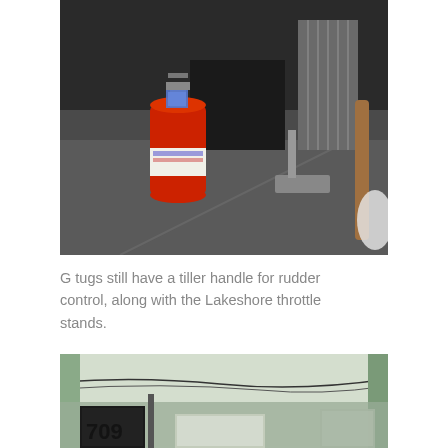[Figure (photo): Interior scene showing a red fire extinguisher in the foreground, with a black toolbox or case behind it, a metal radiator, a grey mechanical throttle stand, and a wooden-handled tool leaning against the wall on a grey floor.]
G tugs still have a tiller handle for rudder control, along with the Lakeshore throttle stands.
[Figure (photo): Interior of a tug boat cabin with a light green painted ceiling and walls, wiring running across the ceiling, windows along the lower portion, and dark equipment visible in the lower left corner marked with the number 709.]